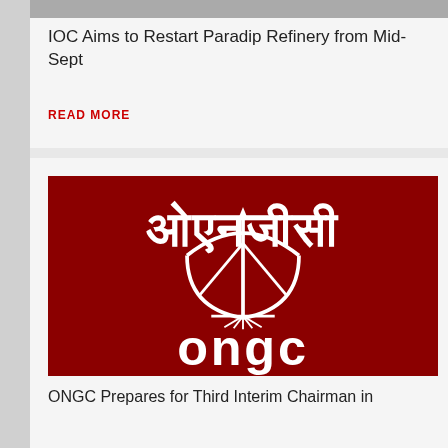IOC Aims to Restart Paradip Refinery from Mid-Sept
READ MORE
[Figure (logo): ONGC logo on dark red background with Hindi text 'ओएनजीसी' and English text 'ongc' with oil derrick emblem]
ONGC Prepares for Third Interim Chairman in